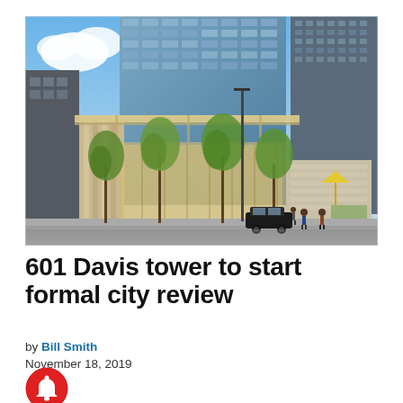[Figure (photo): Architectural rendering of 601 Davis tower, showing a modern glass skyscraper with a low-rise lobby featuring a large cantilevered canopy, street-level trees, pedestrians, and a parked car. Blue sky with clouds visible.]
601 Davis tower to start formal city review
by Bill Smith
November 18, 2019